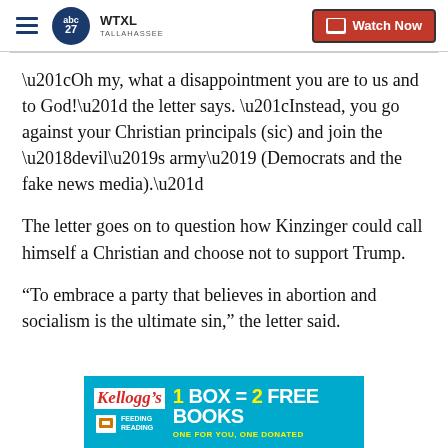WTXL TALLAHASSEE — Watch Now
“Oh my, what a disappointment you are to us and to God!” the letter says. “Instead, you go against your Christian principals (sic) and join the ‘devil’s army’ (Democrats and the fake news media).”
The letter goes on to question how Kinzinger could call himself a Christian and choose not to support Trump.
“To embrace a party that believes in abortion and socialism is the ultimate sin,” the letter said.
[Figure (other): Kellogg's Feeding Reading advertisement banner: 1 BOX = 2 FREE BOOKS, ONE FOR YOU, ONE DONATED]